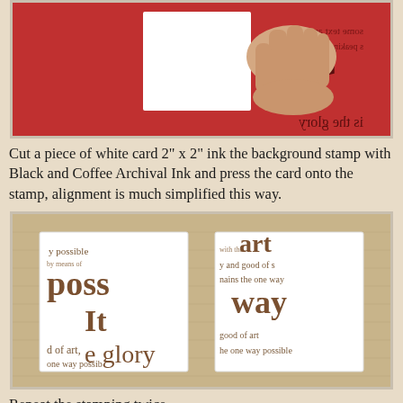[Figure (photo): A hand holding a white square card (2x2 inches) against a red background stamp with black text printed on it, placed on a wooden surface.]
Cut a piece of white card 2" x 2" ink the background stamp with Black and Coffee Archival Ink and press the card onto the stamp, alignment is much simplified this way.
[Figure (photo): Two stamped white square cards placed side by side on a beige linen background, each showing printed text fragments from a background stamp in brown/black ink.]
Repeat the stamping twice.
[Figure (photo): A wooden rubber stamp being held, with a black ink pad visible, on a linen background.]